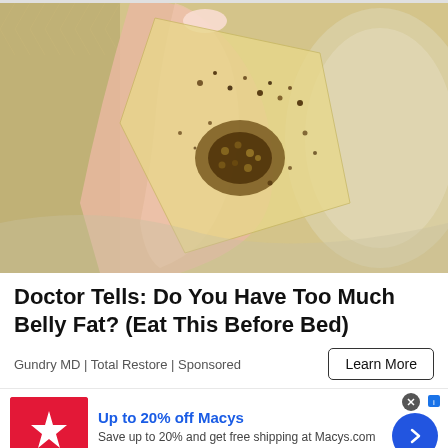[Figure (photo): Close-up photo of a hand with manicured nails holding a thin translucent patch or film covered in brown/dark spots and granular residue, held over a glass bowl]
Doctor Tells: Do You Have Too Much Belly Fat? (Eat This Before Bed)
Gundry MD | Total Restore | Sponsored
Learn More
[Figure (logo): Macy's red logo with white star and macy's text]
Up to 20% off Macys
Save up to 20% and get free shipping at Macys.com
macys.com